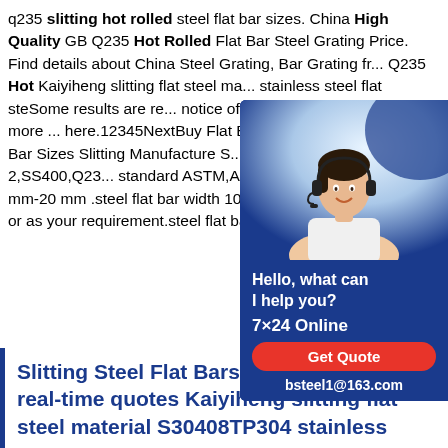q235 slitting hot rolled steel flat bar sizes. China High Quality GB Q235 Hot Rolled Flat Bar Steel Grating Price. Find details about China Steel Grating, Bar Grating fr... Q235 Hot Kaiyiheng slitting flat steel ma... stainless steel flat steSome results are re... notice of local law requirement.For more ... here.12345NextBuy Flat Bar Sizes Slittin... Bar Flat Bar Sizes Slitting Manufacture S... bar grade A36,S235jr,St37-2,SS400,Q23... standard ASTM,AISI,EN,DIN,JIS,GB.stee... mm-20 mm .steel flat bar width 10mm-1 ... length 6m,9m,12m or as your requirement.steel flat bar technique slitting hot
[Figure (photo): Chat widget with a customer service representative wearing a headset, dark blue background, showing 'Hello, what can I help you?', '7x24 Online', 'Get Quote' button, and email 'bsteel1@163.com']
Slitting Steel Flat Bars A36, SS400, Q235 real-time quotes Kaiyiheng slitting flat steel material S30408TP304 stainless